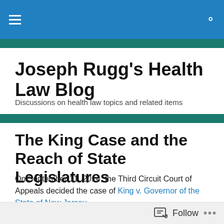Joseph Rugg's Health Law Blog
Joseph Rugg's Health Law Blog
Discussions on health law topics and related items
The King Case and the Reach of State Legislatures
On September 11, 2014, the Third Circuit Court of Appeals decided the case of King v. Governor of the State of New Jersey.
Follow